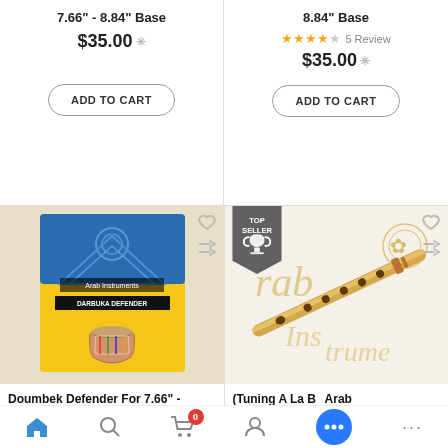7.66" - 8.84" Base
$35.00
ADD TO CART
8.84" Base
★★★★☆ 5 Review
$35.00
ADD TO CART
[Figure (photo): Doumbek Defender product photo showing yellow and blue box packaging with a decorative darbuka drum]
Doumbek Defender For 7.66" -
[Figure (photo): Bamboo flute (ney/kawala) lying on decorative calligraphy paper with gold patterns, marked with TOP SELLER badge]
(Tuning A La B Arab
Home | Search | Cart (0) | Profile | Chat | More